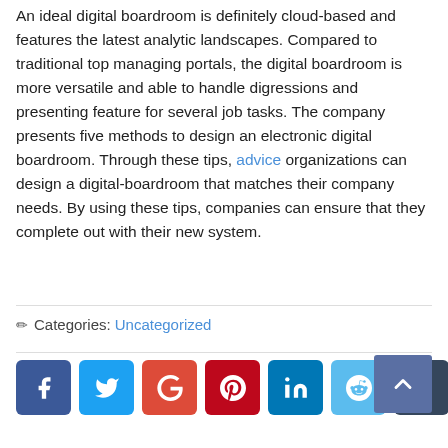An ideal digital boardroom is definitely cloud-based and features the latest analytic landscapes. Compared to traditional top managing portals, the digital boardroom is more versatile and able to handle digressions and presenting feature for several job tasks. The company presents five methods to design an electronic digital boardroom. Through these tips, advice organizations can design a digital-boardroom that matches their company needs. By using these tips, companies can ensure that they complete out with their new system.
✏ Categories: Uncategorized